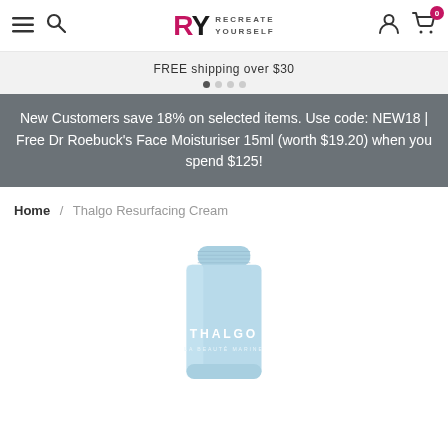RY RECREATE YOURSELF — navigation bar with hamburger, search, logo, user and cart icons
FREE shipping over $30
New Customers save 18% on selected items. Use code: NEW18 | Free Dr Roebuck's Face Moisturiser 15ml (worth $19.20) when you spend $125!
Home / Thalgo Resurfacing Cream
[Figure (photo): Thalgo branded light blue resurfacing cream tube product photo]